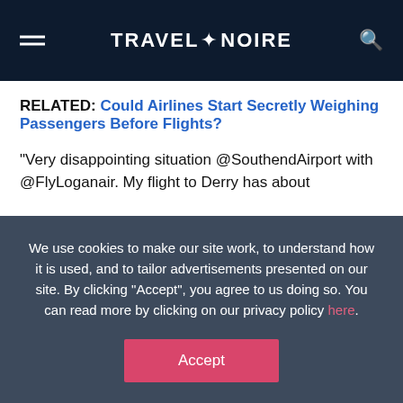TRAVEL + NOIRE
RELATED: Could Airlines Start Secretly Weighing Passengers Before Flights?
“Very disappointing situation @SouthendAirport with @FlyLoganair. My flight to Derry has about
We use cookies to make our site work, to understand how it is used, and to tailor advertisements presented on our site. By clicking “Accept”, you agree to us doing so. You can read more by clicking on our privacy policy here.
Accept